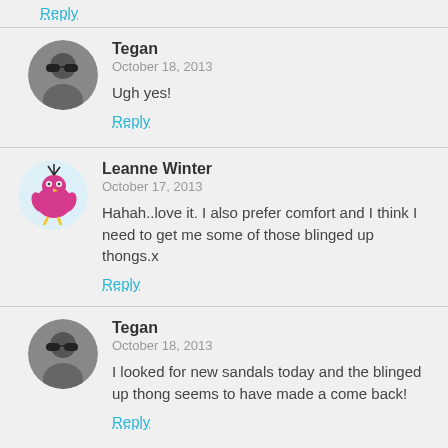Reply
Tegan
October 18, 2013
Ugh yes!
Reply
Leanne Winter
October 17, 2013
Hahah..love it. I also prefer comfort and I think I need to get me some of those blinged up thongs.x
Reply
Tegan
October 18, 2013
I looked for new sandals today and the blinged up thong seems to have made a come back!
Reply